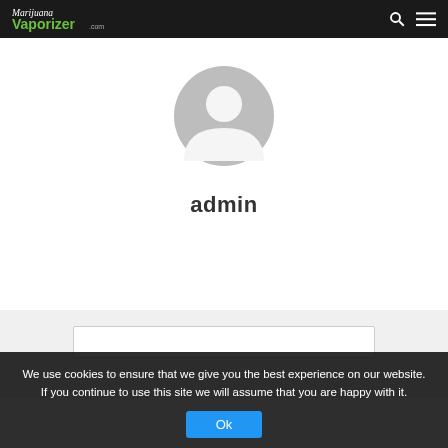Marijuana Vaporizer .com [logo with search and menu icons]
[Figure (illustration): Generic user avatar icon — grey circle with white silhouette of a person's head and shoulders]
admin
[Figure (screenshot): Light grey content area with a white search/input bar]
We use cookies to ensure that we give you the best experience on our website. If you continue to use this site we will assume that you are happy with it. Ok